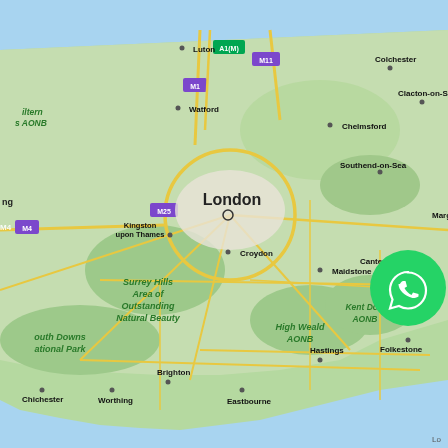[Figure (map): Google Maps screenshot showing South East England including London, Kent, Surrey Hills, Sussex, and surrounding areas. Visible cities include London, Luton, Watford, Kingston upon Thames, Croydon, Chelmsford, Southend-on-Sea, Colchester, Clacton-on-Sea, Maidstone, Canterbury, Margate, Dover, Folkestone, Hastings, Eastbourne, Brighton, Worthing, Chichester. Named areas include Surrey Hills Area of Outstanding Natural Beauty, Kent Downs AONB, High Weald AONB, South Downs National Park, Chiltern Hills AONB. Motorways visible: A1(M), M1, M4, M11, M25. A green WhatsApp button is overlaid on the Canterbury/Dover area.]